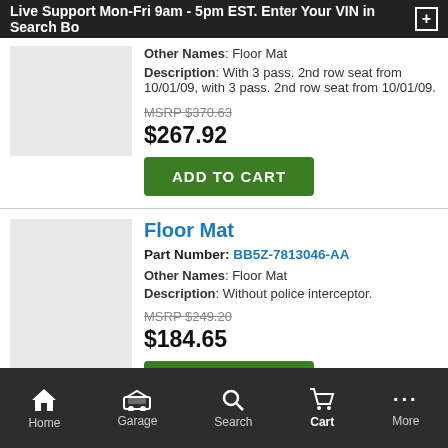Live Support Mon-Fri 9am - 5pm EST. Enter Your VIN in Search Box
Other Names: Floor Mat
Description: With 3 pass. 2nd row seat from 10/01/09, with 3 pass. 2nd row seat from 10/01/09.
MSRP $370.63
$267.92
ADD TO CART
Floor Mat
Part Number: BB5Z-7813046-AA
Other Names: Floor Mat
Description: Without police interceptor.
MSRP $249.20
$184.65
ADD TO CART
Home  Garage  Search  Cart  More